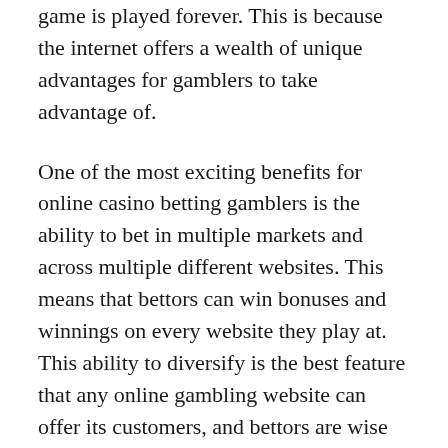game is played forever. This is because the internet offers a wealth of unique advantages for gamblers to take advantage of.
One of the most exciting benefits for online casino betting gamblers is the ability to bet in multiple markets and across multiple different websites. This means that bettors can win bonuses and winnings on every website they play at. This ability to diversify is the best feature that any online gambling website can offer its customers, and bettors are wise to take advantage of it. The best online casino betting bonuses will often require players to sign up at a variety of casinos to receive their winnings.
Another benefit of online casino gambling is the ability to interact with other players from around the world. There is a very real chance of meeting